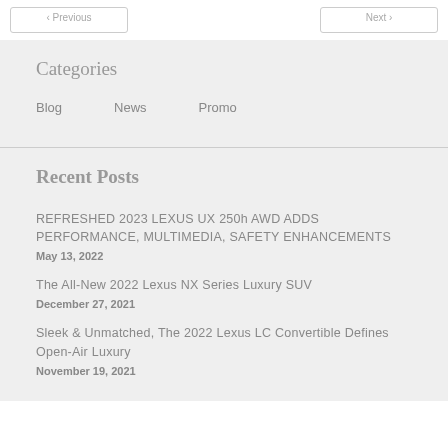< Previous | Next >
Categories
Blog
News
Promo
Recent Posts
REFRESHED 2023 LEXUS UX 250h AWD ADDS PERFORMANCE, MULTIMEDIA, SAFETY ENHANCEMENTS
May 13, 2022
The All-New 2022 Lexus NX Series Luxury SUV
December 27, 2021
Sleek & Unmatched, The 2022 Lexus LC Convertible Defines Open-Air Luxury
November 19, 2021